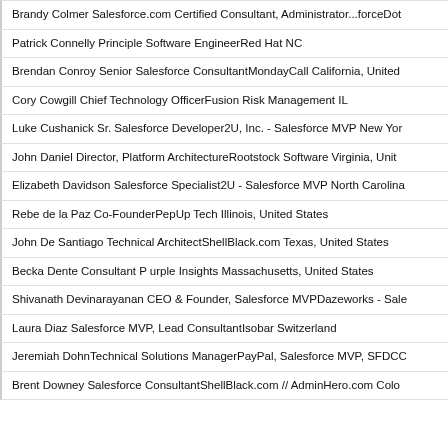Brandy Colmer Salesforce.com Certified Consultant, Administrator...forceDot
Patrick Connelly Principle Software EngineerRed Hat NC
Brendan Conroy Senior Salesforce ConsultantMondayCall California, United
Cory Cowgill Chief Technology OfficerFusion Risk Management IL
Luke Cushanick Sr. Salesforce Developer2U, Inc. - Salesforce MVP New Yor
John Daniel Director, Platform ArchitectureRootstock Software Virginia, Unit
Elizabeth Davidson Salesforce Specialist2U - Salesforce MVP North Carolina
Rebe de la Paz Co-FounderPepUp Tech Illinois, United States
John De Santiago Technical ArchitectShellBlack.com Texas, United States
Becka Dente Consultant P urple Insights Massachusetts, United States
Shivanath Devinarayanan CEO & Founder, Salesforce MVPDazeworks - Sale
Laura Diaz Salesforce MVP, Lead ConsultantIsobar Switzerland
Jeremiah DohnTechnical Solutions ManagerPayPal, Salesforce MVP, SFDCC
Brent Downey Salesforce ConsultantShellBlack.com // AdminHero.com Colo